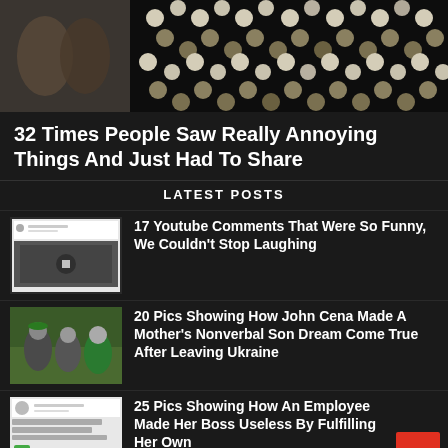[Figure (photo): Close-up of a mosaic or decorative pattern with circles and dots in black, white, and gold/olive colors arranged in a pattern on a dark background]
32 Times People Saw Really Annoying Things And Just Had To Share
LATEST POSTS
[Figure (screenshot): Thumbnail showing a tweet/post screenshot with text and a social media video embed]
17 Youtube Comments That Were So Funny, We Couldn't Stop Laughing
[Figure (photo): Photo of three people standing outdoors in a wooded area, wearing casual clothes including a green jersey]
20 Pics Showing How John Cena Made A Mother's Nonverbal Son Dream Come True After Leaving Ukraine
[Figure (screenshot): Screenshot of a social media post about firing a boss]
25 Pics Showing How An Employee Made Her Boss Useless By Fulfilling Her Own...